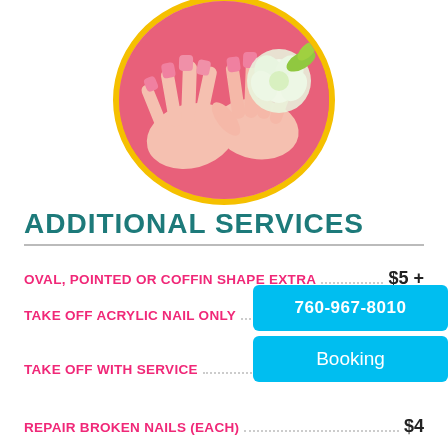[Figure (photo): Circular photo of manicured hands with pink nails and a white rose, framed with a yellow/gold circle border]
ADDITIONAL SERVICES
OVAL, POINTED OR COFFIN SHAPE EXTRA  $5 +
TAKE OFF ACRYLIC NAIL ONLY   760-967-8010
TAKE OFF WITH SERVICE   Booking
REPAIR BROKEN NAILS (EACH)   $4
PARAFFIN WAX WITH SERVICE   $10
CALLUS TREATMENT   $5